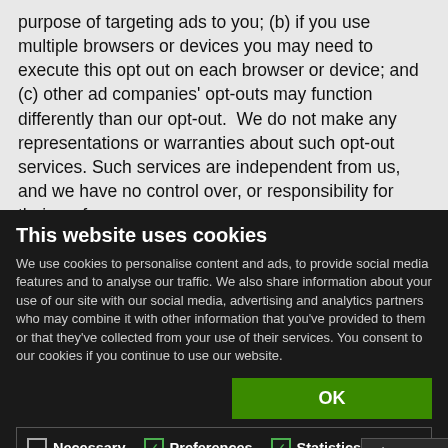purpose of targeting ads to you; (b) if you use multiple browsers or devices you may need to execute this opt out on each browser or device; and (c) other ad companies' opt-outs may function differently than our opt-out.  We do not make any representations or warranties about such opt-out services. Such services are independent from us, and we have no control over, or responsibility for their performance.
This website uses cookies
We use cookies to personalise content and ads, to provide social media features and to analyse our traffic. We also share information about your use of our site with our social media, advertising and analytics partners who may combine it with other information that you've provided to them or that they've collected from your use of their services. You consent to our cookies if you continue to use our website.
Necessary
Preferences
Statistics
Marketing